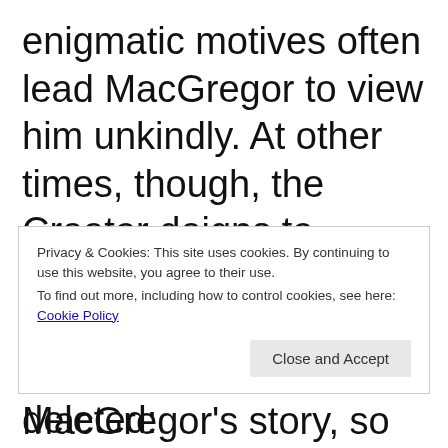enigmatic motives often lead MacGregor to view him unkindly. At other times, though, the Creator deigns to indulge MacGregor, rewriting earlier versions of MacGregor's story, so that MacGregor revels in a new
Privacy & Cookies: This site uses cookies. By continuing to use this website, you agree to their use.
To find out more, including how to control cookies, see here: Cookie Policy
deleted: